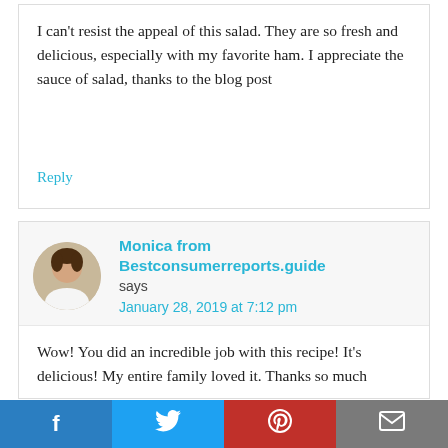I can't resist the appeal of this salad. They are so fresh and delicious, especially with my favorite ham. I appreciate the sauce of salad, thanks to the blog post
Reply
Monica from Bestconsumerreports.guide says
January 28, 2019 at 7:12 pm
Wow! You did an incredible job with this recipe! It's delicious! My entire family loved it. Thanks so much